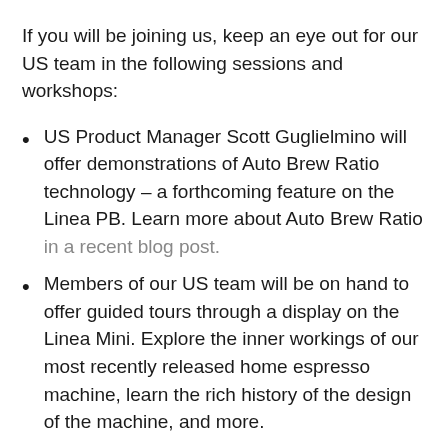If you will be joining us, keep an eye out for our US team in the following sessions and workshops:
US Product Manager Scott Guglielmino will offer demonstrations of Auto Brew Ratio technology – a forthcoming feature on the Linea PB. Learn more about Auto Brew Ratio in a recent blog post.
Members of our US team will be on hand to offer guided tours through a display on the Linea Mini. Explore the inner workings of our most recently released home espresso machine, learn the rich history of the design of the machine, and more.
Our US team will be on hand to meet some of our...